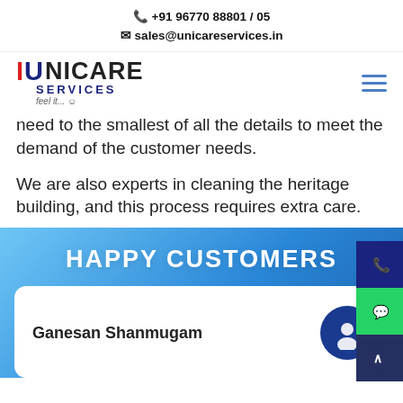+91 96770 88801 / 05
sales@unicareservices.in
[Figure (logo): Unicare Services logo with red and navy text, tagline 'feel it...']
need to the smallest of all the details to meet the demand of the customer needs.
We are also experts in cleaning the heritage building, and this process requires extra care.
HAPPY CUSTOMERS
Ganesan Shanmugam